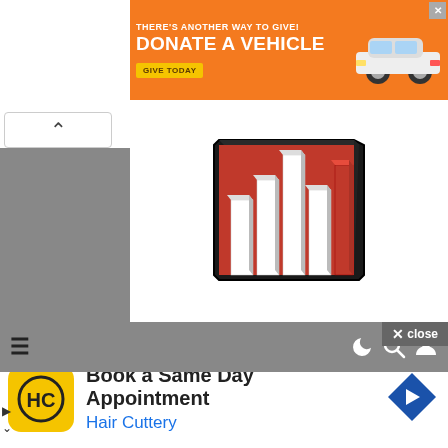[Figure (screenshot): Orange banner advertisement: 'THERE'S ANOTHER WAY TO GIVE! DONATE A VEHICLE GIVE TODAY' with a white car image on the right and an X close button]
[Figure (logo): Red and white 3D bar chart icon logo, partially visible at top]
[Figure (screenshot): Grey navigation bar with hamburger menu icon on left and moon/search/account icons on right. 'x close' button at top right. Up and down navigation arrows on left side. Grey content panel area.]
[Figure (screenshot): Bottom advertisement: Hair Cuttery logo (yellow square with HC in black circle), text 'Book a Same Day Appointment' and 'Hair Cuttery' in blue, blue diamond arrow icon on right]